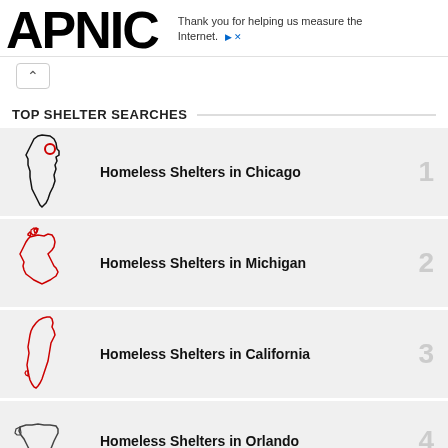APNIC — Thank you for helping us measure the Internet.
TOP SHELTER SEARCHES
Homeless Shelters in Chicago
Homeless Shelters in Michigan
Homeless Shelters in California
Homeless Shelters in Orlando